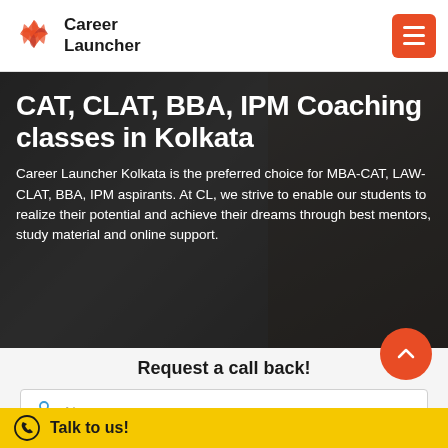Career Launcher
CAT, CLAT, BBA, IPM Coaching classes in Kolkata
Career Launcher Kolkata is the preferred choice for MBA-CAT, LAW-CLAT, BBA, IPM aspirants. At CL, we strive to enable our students to realize their potential and achieve their dreams through best mentors, study material and online support.
Request a call back!
Name
Email
Talk to us!